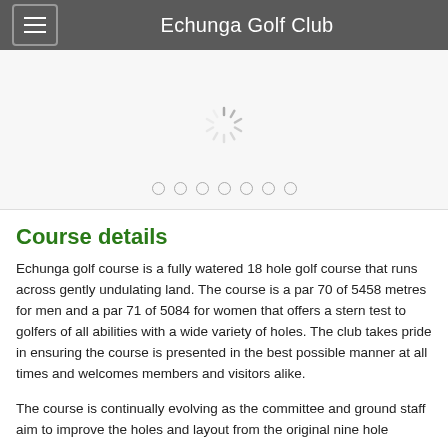Echunga Golf Club
[Figure (screenshot): Slideshow image area with a loading spinner (radial spokes) and seven navigation dots below]
Course details
Echunga golf course is a fully watered 18 hole golf course that runs across gently undulating land. The course is a par 70 of 5458 metres for men and a par 71 of 5084 for women that offers a stern test to golfers of all abilities with a wide variety of holes. The club takes pride in ensuring the course is presented in the best possible manner at all times and welcomes members and visitors alike.
The course is continually evolving as the committee and ground staff aim to improve the holes and layout from the original nine hole